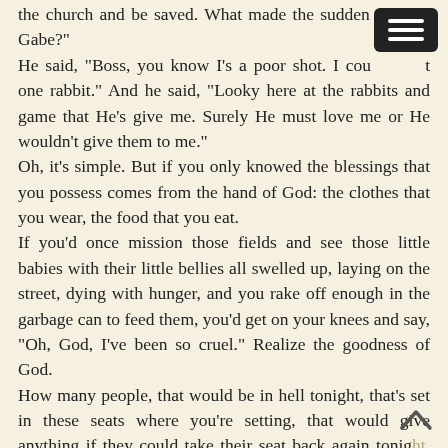the church and be saved. What made the sudden change, Gabe?"
He said, "Boss, you know I's a poor shot. I couldn't hit one rabbit." And he said, "Looky here at the rabbits and game that He's give me. Surely He must love me or He wouldn't give them to me."
Oh, it's simple. But if you only knowed the blessings that you possess comes from the hand of God: the clothes that you wear, the food that you eat.
If you'd once mission those fields and see those little babies with their little bellies all swelled up, laying on the street, dying with hunger, and you rake off enough in the garbage can to feed them, you'd get on your knees and say, "Oh, God, I've been so cruel." Realize the goodness of God.
How many people, that would be in hell tonight, that's set in these seats where you're setting, that would give anything if they could take their seat back again tonight, and have the opportunity to come.